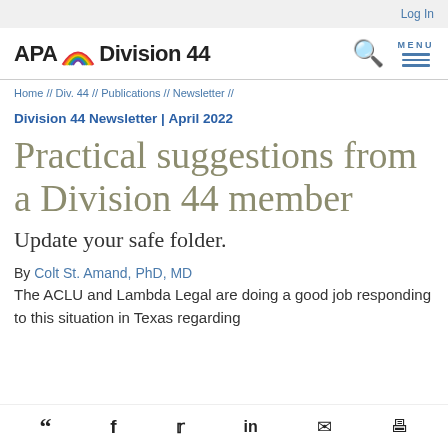Log In
[Figure (logo): APA Division 44 logo with rainbow arc between APA and Division 44 text]
Home // Div. 44 // Publications // Newsletter //
Division 44 Newsletter | April 2022
Practical suggestions from a Division 44 member
Update your safe folder.
By Colt St. Amand, PhD, MD
The ACLU and Lambda Legal are doing a good job responding to this situation in Texas regarding